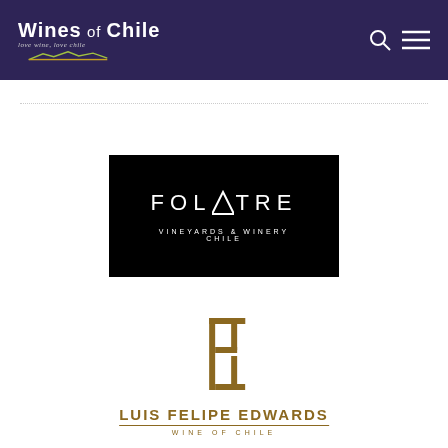Wines of Chile | love wine, love chile
[Figure (logo): Folatre Vineyards & Winery Chile logo — white text on black background]
[Figure (logo): Luis Felipe Edwards Wine of Chile logo — gold/brown geometric monogram with text]